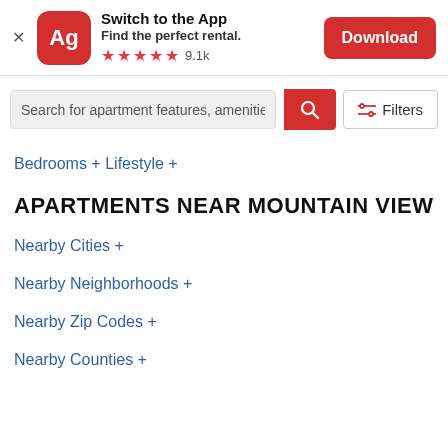[Figure (screenshot): App banner with Ag logo, Switch to the App text, Find the perfect rental tagline, 5 stars rating 9.1k, and Download button]
[Figure (screenshot): Search bar with text 'Search for apartment features, amenities, etc', red search icon button, and Filters button]
Bedrooms +
Lifestyle +
APARTMENTS NEAR MOUNTAIN VIEW
Nearby Cities +
Nearby Neighborhoods +
Nearby Zip Codes +
Nearby Counties +